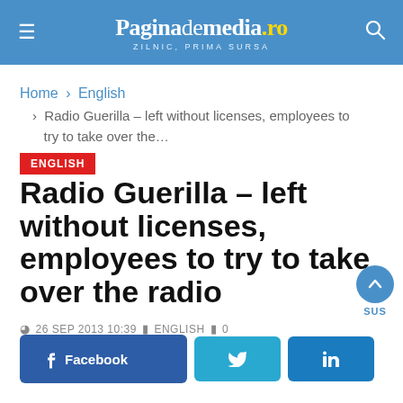Paginademedia.ro – ZILNIC, PRIMA SURSA
Home > English > Radio Guerilla – left without licenses, employees to try to take over the...
ENGLISH
Radio Guerilla – left without licenses, employees to try to take over the radio
26 SEP 2013 10:39  ENGLISH  0
Facebook  Twitter  LinkedIn